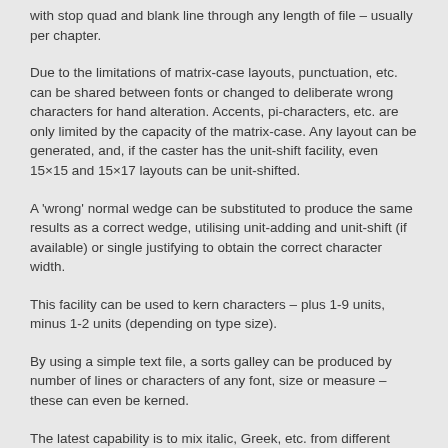with stop quad and blank line through any length of file – usually per chapter.
Due to the limitations of matrix-case layouts, punctuation, etc. can be shared between fonts or changed to deliberate wrong characters for hand alteration. Accents, pi-characters, etc. are only limited by the capacity of the matrix-case. Any layout can be generated, and, if the caster has the unit-shift facility, even 15×15 and 15×17 layouts can be unit-shifted.
A 'wrong' normal wedge can be substituted to produce the same results as a correct wedge, utilising unit-adding and unit-shift (if available) or single justifying to obtain the correct character width.
This facility can be used to kern characters – plus 1-9 units, minus 1-2 units (depending on type size).
By using a simple text file, a sorts galley can be produced by number of lines or characters of any font, size or measure – these can even be kerned.
The latest capability is to mix italic, Greek, etc. from different diecases – not only of the same set, but different sizes within the limits of the wedges. This is very useful in large composition